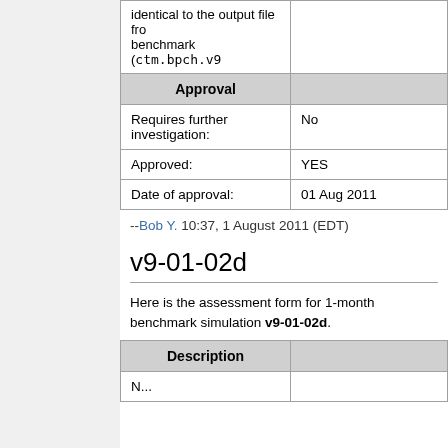| Approval |  |
| --- | --- |
|  | identical to the output file from benchmark (ctm.bpch.v9... |
| Approval |  |
| Requires further investigation: | No |
| Approved: | YES |
| Date of approval: | 01 Aug 2011 |
--Bob Y. 10:37, 1 August 2011 (EDT)
v9-01-02d
Here is the assessment form for 1-month benchmark simulation v9-01-02d.
| Description |  |
| --- | --- |
| Description |  |
| N... |  |